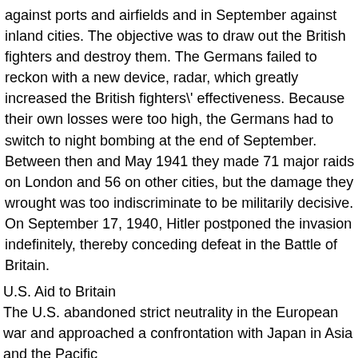against ports and airfields and in September against inland cities. The objective was to draw out the British fighters and destroy them. The Germans failed to reckon with a new device, radar, which greatly increased the British fighters' effectiveness. Because their own losses were too high, the Germans had to switch to night bombing at the end of September. Between then and May 1941 they made 71 major raids on London and 56 on other cities, but the damage they wrought was too indiscriminate to be militarily decisive. On September 17, 1940, Hitler postponed the invasion indefinitely, thereby conceding defeat in the Battle of Britain.
U.S. Aid to Britain
The U.S. abandoned strict neutrality in the European war and approached a confrontation with Japan in Asia and the Pacific